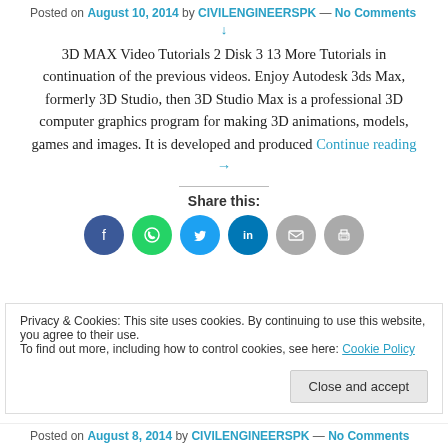Posted on August 10, 2014 by CIVILENGINEERSPK — No Comments
↓
3D MAX Video Tutorials 2 Disk 3 13 More Tutorials in continuation of the previous videos. Enjoy Autodesk 3ds Max, formerly 3D Studio, then 3D Studio Max is a professional 3D computer graphics program for making 3D animations, models, games and images. It is developed and produced Continue reading →
Share this:
[Figure (infographic): Social share icons: Facebook (blue), WhatsApp (green), Twitter (light blue), LinkedIn (dark blue), Email (grey), Print (grey)]
Privacy & Cookies: This site uses cookies. By continuing to use this website, you agree to their use. To find out more, including how to control cookies, see here: Cookie Policy
Close and accept
Posted on August 8, 2014 by CIVILENGINEERSPK — No Comments